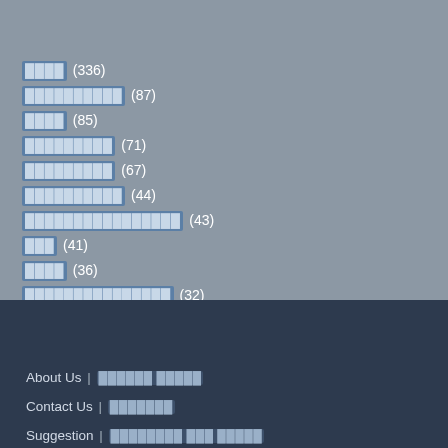████ (336)
██████████ (87)
████ (85)
█████████ (71)
█████████ (67)
██████████ (44)
████████████████ (43)
███ (41)
████ (36)
███████████████ (32)
About Us | ████████████
Contact Us | ███████
Suggestion | █████████████████